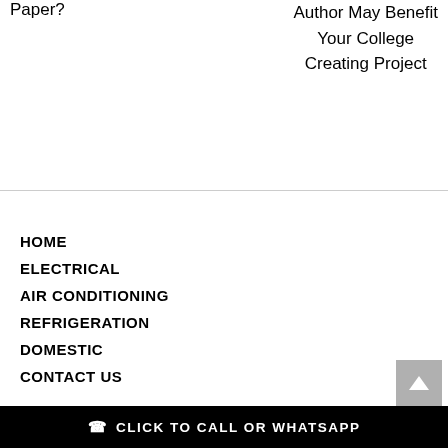Paper?
Author May Benefit Your College Creating Project
HOME
ELECTRICAL
AIR CONDITIONING
REFRIGERATION
DOMESTIC
CONTACT US
CLICK TO CALL OR WHATSAPP